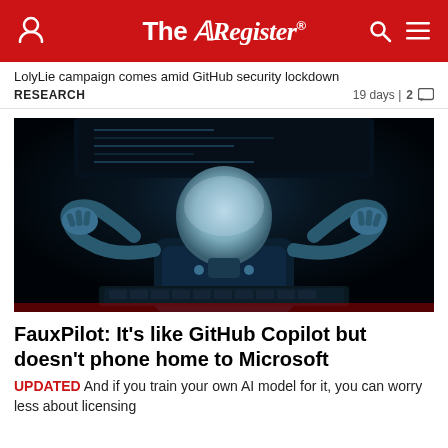The Register
LolyLie campaign comes amid GitHub security lockdown
RESEARCH   19 days | 2
[Figure (photo): Robot figure with white dome head and mechanical arms/hands typing on a laptop keyboard against a dark background]
FauxPilot: It's like GitHub Copilot but doesn't phone home to Microsoft
UPDATED And if you train your own AI model for it, you can worry less about licensing